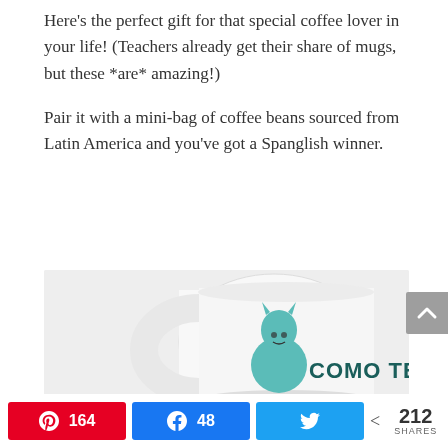Here’s the perfect gift for that special coffee lover in your life! (Teachers already get their share of mugs, but these *are* amazing!)
Pair it with a mini-bag of coffee beans sourced from Latin America and you’ve got a Spanglish winner.
[Figure (photo): Photo of a white ceramic coffee mug with a teal llama illustration and the text ‘COMO TE...’ partially visible]